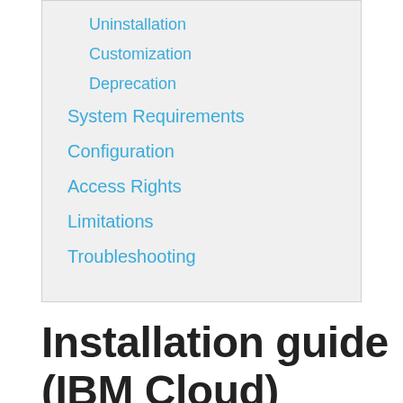Uninstallation
Customization
Deprecation
System Requirements
Configuration
Access Rights
Limitations
Troubleshooting
Installation guide (IBM Cloud)
Table of contents
Cloud account account preparations